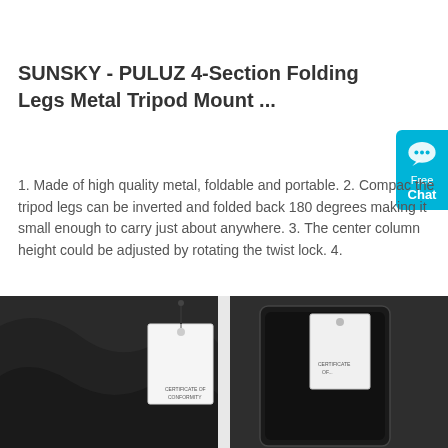SUNSKY - PULUZ 4-Section Folding Legs Metal Tripod Mount ...
1. Made of high quality metal, foldable and portable. 2. Compact the tripod legs can be inverted and folded back 180 degrees making it small enough to carry just about anywhere. 3. The center column height could be adjusted by rotating the twist lock. 4.
[Figure (screenshot): Orange 'Get Price' button with rounded corners]
[Figure (photo): Product photo showing dark leather case and a phone case with 'Certificate of Conformity' tag]